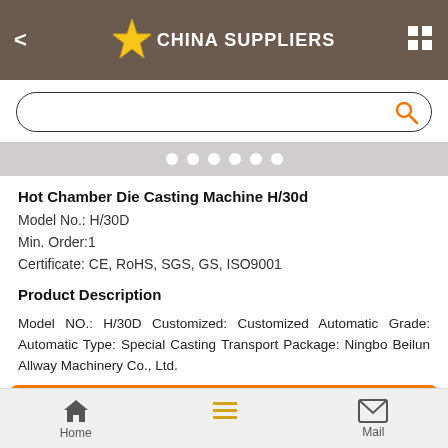CHINA SUPPLIERS
[Figure (screenshot): Search bar with orange magnifying glass icon]
[Figure (other): Carousel pagination dots (6 white dots on grey background)]
Hot Chamber Die Casting Machine H/30d
Model No.:  H/30D
Min. Order:1
Certificate: CE, RoHS, SGS, GS, ISO9001
Product Description
Model NO.: H/30D Customized: Customized Automatic Grade: Automatic Type: Special Casting Transport Package: Ningbo Beilun Allway Machinery Co., Ltd.
Contact Now
Home   Mail